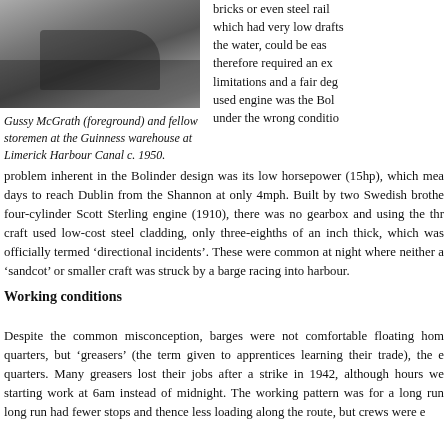[Figure (photo): Black and white photograph of Gussy McGrath (foreground) and fellow storemen at the Guinness warehouse at Limerick Harbour Canal c. 1950.]
Gussy McGrath (foreground) and fellow storemen at the Guinness warehouse at Limerick Harbour Canal c. 1950.
bricks or even steel rail which had very low drafts the water, could be eas therefore required an ex limitations and a fair deg used engine was the Bol under the wrong conditi problem inherent in the Bolinder design was its low horsepower (15hp), which mea days to reach Dublin from the Shannon at only 4mph. Built by two Swedish brothe four-cylinder Scott Sterling engine (1910), there was no gearbox and using the thr craft used low-cost steel cladding, only three-eighths of an inch thick, which was officially termed ‘directional incidents’. These were common at night where neither a ‘sandcot’ or smaller craft was struck by a barge racing into harbour.
Working conditions
Despite the common misconception, barges were not comfortable floating hom quarters, but ‘greasers’ (the term given to apprentices learning their trade), the e quarters. Many greasers lost their jobs after a strike in 1942, although hours we starting work at 6am instead of midnight. The working pattern was for a long run long run had fewer stops and thence less loading along the route, but crews were e more conditions than on short runs, not least for the Guby areas of f